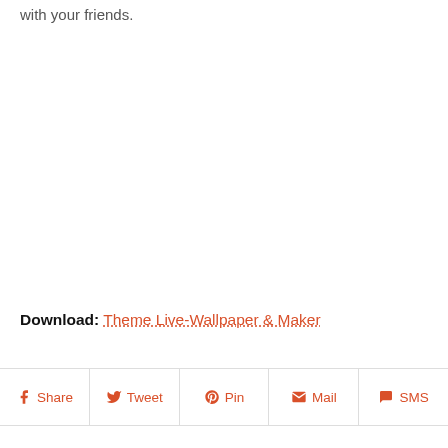with your friends.
Download: Theme Live-Wallpaper & Maker
Share
Tweet
Pin
Mail
SMS